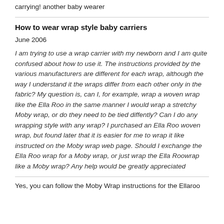carrying! another baby wearer
How to wear wrap style baby carriers
June 2006
I am trying to use a wrap carrier with my newborn and I am quite confused about how to use it. The instructions provided by the various manufacturers are different for each wrap, although the way I understand it the wraps differ from each other only in the fabric? My question is, can I, for example, wrap a woven wrap like the Ella Roo in the same manner I would wrap a stretchy Moby wrap, or do they need to be tied diffently? Can I do any wrapping style with any wrap? I purchased an Ella Roo woven wrap, but found later that it is easier for me to wrap it like instructed on the Moby wrap web page. Should I exchange the Ella Roo wrap for a Moby wrap, or just wrap the Ella Roowrap like a Moby wrap? Any help would be greatly appreciated
Yes, you can follow the Moby Wrap instructions for the Ellaroo